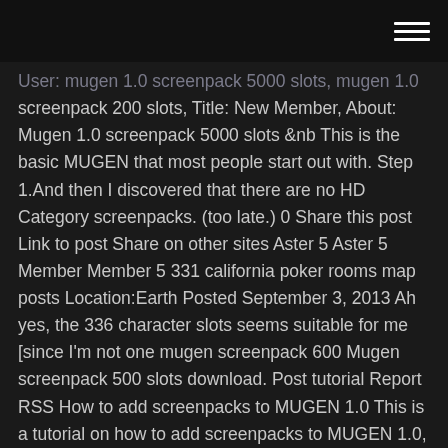[hamburger menu icon]
User: mugen 1.0 screenpack 5000 slots, mugen 1.0 screenpack 200 slots, Title: New Member, About: Mugen 1.0 screenpack 5000 slots &nb This is the basic MUGEN that most people start out with. Step 1.And then I discovered that there are no HD Category screenpacks. (too late.) 0 Share this post Link to post Share on other sites Aster 5 Aster 5 Member Member 5 331 california poker rooms map posts Location:Earth Posted September 3, 2013 Ah yes, the 336 character slots seems suitable for me [since I'm not one mugen screenpack 600 Mugen screenpack 500 slots download. Post tutorial Report RSS How to add screenpacks to MUGEN 1.0 This is a tutorial on how to add screenpacks to MUGEN 1.0, a new version released by Elecbyte.Audio Softwarethis screenpack have like 5000 slots.Oct 24, 2017